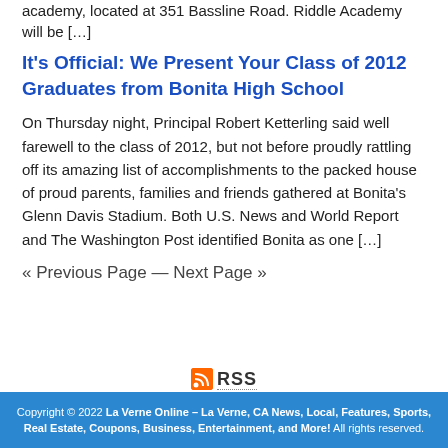academy, located at 351 Bassline Road. Riddle Academy will be [...]
It's Official: We Present Your Class of 2012 Graduates from Bonita High School
On Thursday night, Principal Robert Ketterling said well farewell to the class of 2012, but not before proudly rattling off its amazing list of accomplishments to the packed house of proud parents, families and friends gathered at Bonita's Glenn Davis Stadium. Both U.S. News and World Report and The Washington Post identified Bonita as one [...]
« Previous Page — Next Page »
[Figure (logo): RSS feed icon and text link]
Copyright © 2022 La Verne Online – La Verne, CA News, Local, Features, Sports, Real Estate, Coupons, Business, Entertainment, and More! All rights reserved.